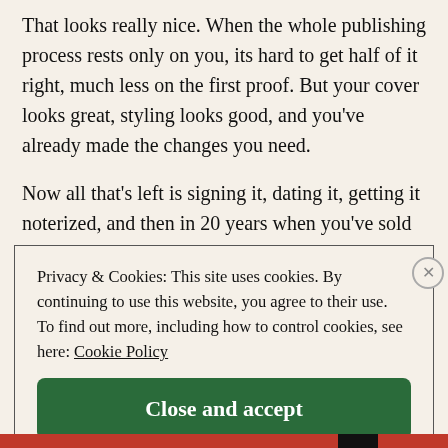That looks really nice. When the whole publishing process rests only on you, its hard to get half of it right, much less on the first proof. But your cover looks great, styling looks good, and you've already made the changes you need.
Now all that's left is signing it, dating it, getting it noterized, and then in 20 years when you've sold 20 million books, it'll be a nest egg ;P (Neil Armstrong
Privacy & Cookies: This site uses cookies. By continuing to use this website, you agree to their use. To find out more, including how to control cookies, see here: Cookie Policy
Close and accept